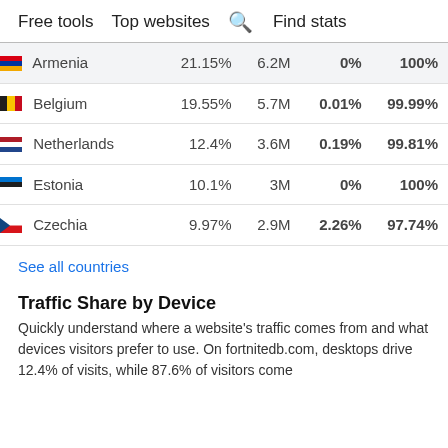Free tools   Top websites   🔍 Find stats
| Country | % | Visits | Blue% | Gold% |
| --- | --- | --- | --- | --- |
| Armenia | 21.15% | 6.2M | 0% | 100% |
| Belgium | 19.55% | 5.7M | 0.01% | 99.99% |
| Netherlands | 12.4% | 3.6M | 0.19% | 99.81% |
| Estonia | 10.1% | 3M | 0% | 100% |
| Czechia | 9.97% | 2.9M | 2.26% | 97.74% |
See all countries
Traffic Share by Device
Quickly understand where a website's traffic comes from and what devices visitors prefer to use. On fortnitedb.com, desktops drive 12.4% of visits, while 87.6% of visitors come